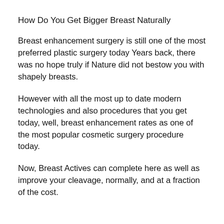How Do You Get Bigger Breast Naturally
Breast enhancement surgery is still one of the most preferred plastic surgery today Years back, there was no hope truly if Nature did not bestow you with shapely breasts.
However with all the most up to date modern technologies and also procedures that you get today, well, breast enhancement rates as one of the most popular cosmetic surgery procedure today.
Now, Breast Actives can complete here as well as improve your cleavage, normally, and at a fraction of the cost.